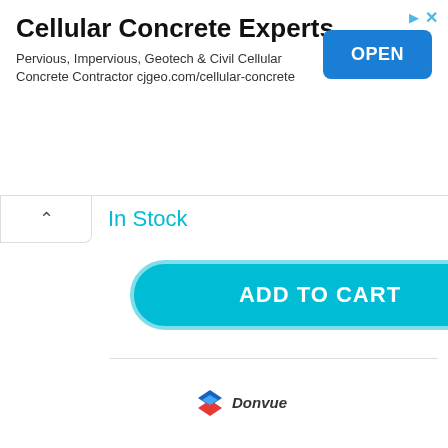[Figure (screenshot): Advertisement banner for Cellular Concrete Experts with title, description text, and OPEN button]
In Stock
ADD TO CART
[Figure (logo): Donvue logo with diamond-shaped icon and italic brand name]